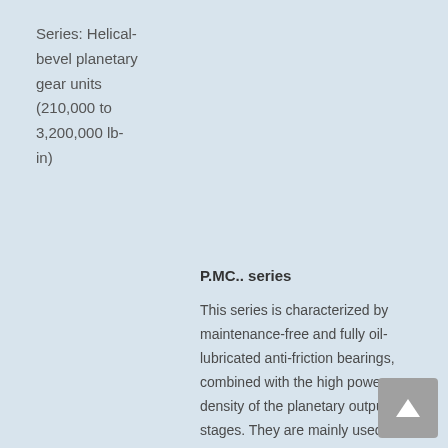Series: Helical-bevel planetary gear units (210,000 to 3,200,000 lb-in)
P.MC.. series
This series is characterized by maintenance-free and fully oil-lubricated anti-friction bearings, combined with the high power density of the planetary output stages. They are mainly used for high reduction ratios and low output speeds. Individual optional features, such as special sealing systems and lubricants, torque arms and swing bases complete the range, which is mainly used for conveyors, feeders and dryers.